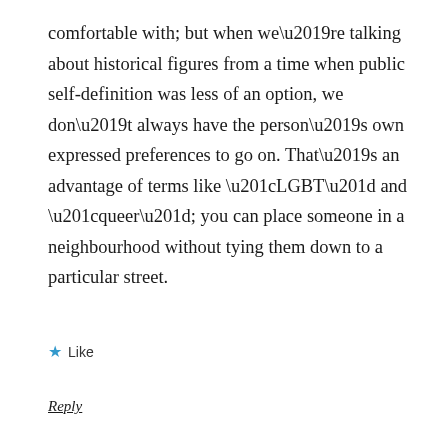comfortable with; but when we’re talking about historical figures from a time when public self-definition was less of an option, we don’t always have the person’s own expressed preferences to go on. That’s an advantage of terms like “LGBT” and “queer”; you can place someone in a neighbourhood without tying them down to a particular street.
★ Like
Reply